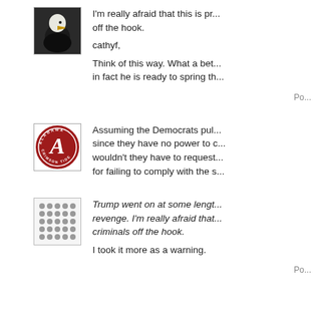[Figure (photo): Bald eagle avatar profile photo]
I'm really afraid that this is pr... off the hook.
cathyf,
Think of this way. What a bet... in fact he is ready to spring th...
Po...
[Figure (logo): Alabama Crimson Tide logo]
Assuming the Democrats pul... since they have no power to c... wouldn't they have to request... for failing to comply with the s...
[Figure (illustration): Grid of grey dots pattern]
Trump went on at some lengt... revenge. I'm really afraid that... criminals off the hook.
I took it more as a warning.
Po...